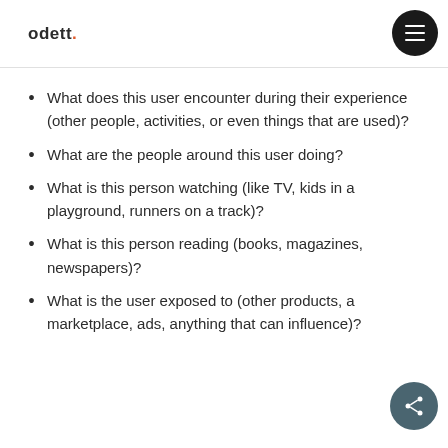odett.
What does this user encounter during their experience (other people, activities, or even things that are used)?
What are the people around this user doing?
What is this person watching (like TV, kids in a playground, runners on a track)?
What is this person reading (books, magazines, newspapers)?
What is the user exposed to (other products, a marketplace, ads, anything that can influence)?